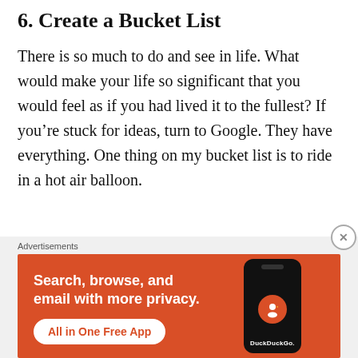6. Create a Bucket List
There is so much to do and see in life. What would make your life so significant that you would feel as if you had lived it to the fullest? If you’re stuck for ideas, turn to Google. They have everything. One thing on my bucket list is to ride in a hot air balloon.
[Figure (other): DuckDuckGo advertisement banner with orange background. Text reads: Search, browse, and email with more privacy. All in One Free App. Shows a smartphone with DuckDuckGo logo.]